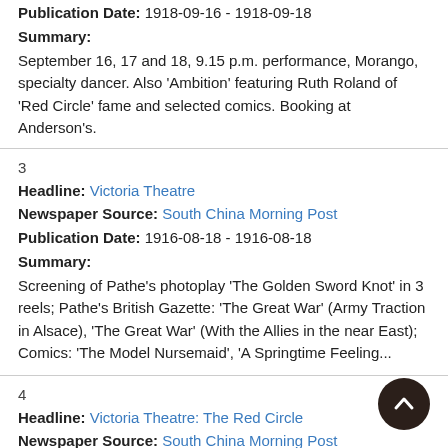Publication Date: 1918-09-16 - 1918-09-18
Summary:
September 16, 17 and 18, 9.15 p.m. performance, Morango, specialty dancer. Also 'Ambition' featuring Ruth Roland of 'Red Circle' fame and selected comics. Booking at Anderson's.
3
Headline: Victoria Theatre
Newspaper Source: South China Morning Post
Publication Date: 1916-08-18 - 1916-08-18
Summary:
Screening of Pathe's photoplay 'The Golden Sword Knot' in 3 reels; Pathe's British Gazette: 'The Great War' (Army Traction in Alsace), 'The Great War' (With the Allies in the near East); Comics: 'The Model Nursemaid', 'A Springtime Feeling...
4
Headline: Victoria Theatre: The Red Circle
Newspaper Source: South China Morning Post
Publication Date: 1916-09-28 - 1916-10-14